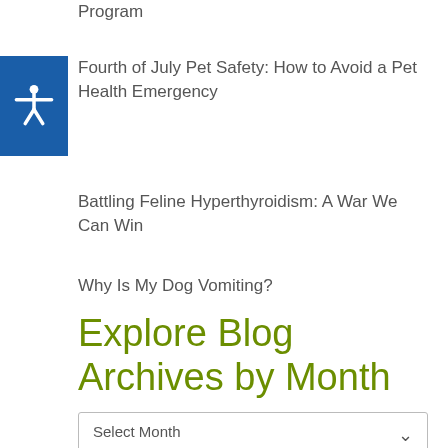Program
Fourth of July Pet Safety: How to Avoid a Pet Health Emergency
Battling Feline Hyperthyroidism: A War We Can Win
Why Is My Dog Vomiting?
Explore Blog Archives by Month